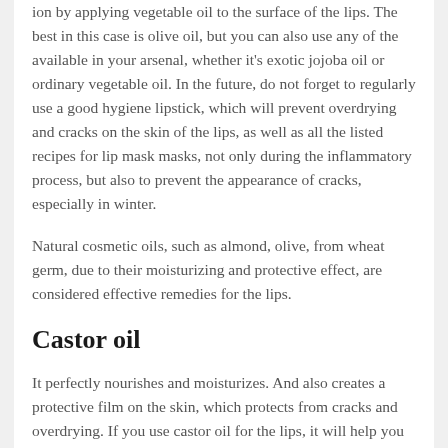ion by applying vegetable oil to the surface of the lips. The best in this case is olive oil, but you can also use any of the available in your arsenal, whether it's exotic jojoba oil or ordinary vegetable oil. In the future, do not forget to regularly use a good hygiene lipstick, which will prevent overdrying and cracks on the skin of the lips, as well as all the listed recipes for lip mask masks, not only during the inflammatory process, but also to prevent the appearance of cracks, especially in winter.
Natural cosmetic oils, such as almond, olive, from wheat germ, due to their moisturizing and protective effect, are considered effective remedies for the lips.
Castor oil
It perfectly nourishes and moisturizes. And also creates a protective film on the skin, which protects from cracks and overdrying. If you use castor oil for the lips, it will help you get rid of cracks and dryness, and also protect the gentle skin from weathering in cold weather. Before use, the oil should be slightly warmed to body temperature. You need to apply it several times a day, preferably before leaving home and always